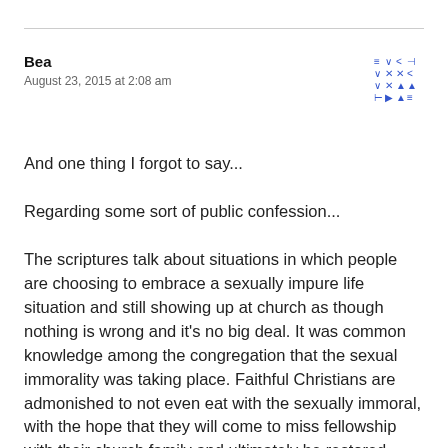Bea
August 23, 2015 at 2:08 am
And one thing I forgot to say...
Regarding some sort of public confession...
The scriptures talk about situations in which people are choosing to embrace a sexually impure life situation and still showing up at church as though nothing is wrong and it’s no big deal. It was common knowledge among the congregation that the sexual immorality was taking place. Faithful Christians are admonished to not even eat with the sexually immoral, with the hope that they will come to miss fellowship with their church family and ultimately be restored.